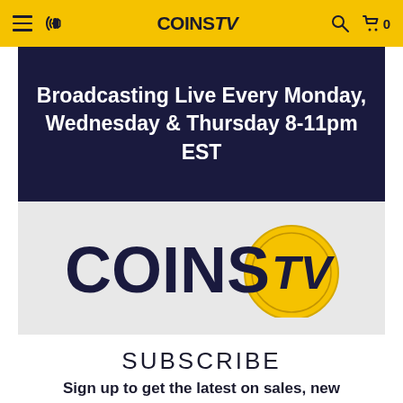COINS TV
[Figure (infographic): Dark navy blue banner with white bold text: Broadcasting Live Every Monday, Wednesday & Thursday 8-11pm EST]
[Figure (logo): CoinsTV logo on light gray background — COINS in dark navy bold, TV in dark navy bold italic with a gold coin circle graphic]
SUBSCRIBE
Sign up to get the latest on sales, new